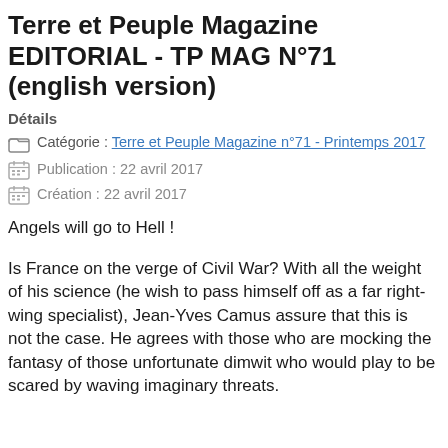Terre et Peuple Magazine EDITORIAL - TP MAG N°71 (english version)
Détails
Catégorie : Terre et Peuple Magazine n°71 - Printemps 2017
Publication : 22 avril 2017
Création : 22 avril 2017
Angels will go to Hell !
Is France on the verge of Civil War? With all the weight of his science (he wish to pass himself off as a far right-wing specialist), Jean-Yves Camus assure that this is not the case. He agrees with those who are mocking the fantasy of those unfortunate dimwit who would play to be scared by waving imaginary threats.